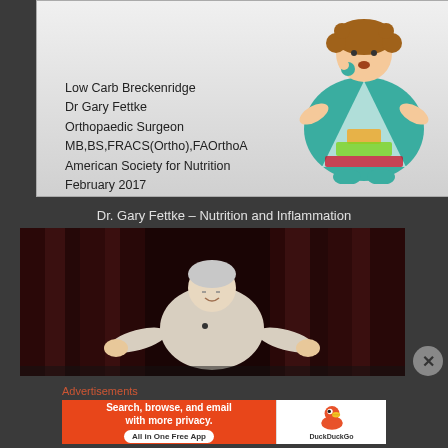[Figure (screenshot): Presentation slide thumbnail showing text: Low Carb Breckenridge, Dr Gary Fettke, Orthopaedic Surgeon, MB,BS,FRACS(Ortho),FAOrthoA, American Society for Nutrition, February 2017. Right side shows a cartoon illustration of an overweight woman with a food pyramid on her body.]
Dr. Gary Fettke – Nutrition and Inflammation
[Figure (photo): Video thumbnail showing a man (Dr. Gary Fettke) standing on a stage with a dark red curtain background, gesturing with both hands.]
Advertisements
[Figure (screenshot): Advertisement banner for DuckDuckGo app. Left side (orange background): 'Search, browse, and email with more privacy. All in One Free App'. Right side (white background): DuckDuckGo logo and duck icon.]